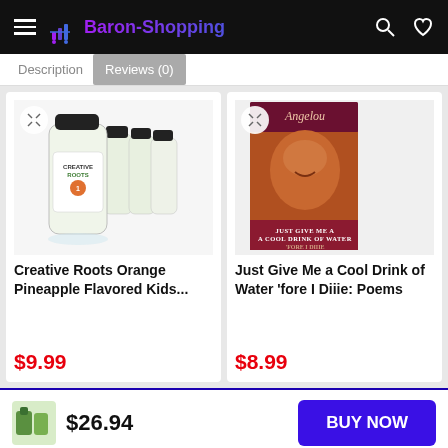Baron-Shopping
Description   Reviews (0)
[Figure (photo): Creative Roots Orange Pineapple flavored kids drink bottles product image]
Creative Roots Orange Pineapple Flavored Kids...
$9.99
[Figure (photo): Book cover: Just Give Me a Cool Drink of Water 'fore I Diiie: Poems by Angelou]
Just Give Me a Cool Drink of Water 'fore I Diiie: Poems
$8.99
$26.94
BUY NOW